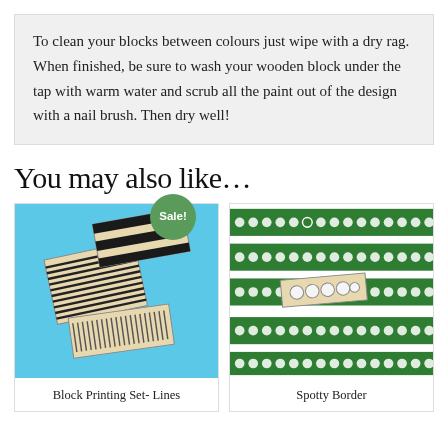To clean your blocks between colours just wipe with a dry rag. When finished, be sure to wash your wooden block under the tap with warm water and scrub all the paint out of the design with a nail brush. Then dry well!
You may also like…
[Figure (photo): Photo of block printing set with lines pattern stamps on blue background, with a green 'Sale!' badge]
Block Printing Set- Lines
[Figure (photo): Photo of spotty border block printing stamp shown with green and white dotted border patterns printed on paper]
Spotty Border